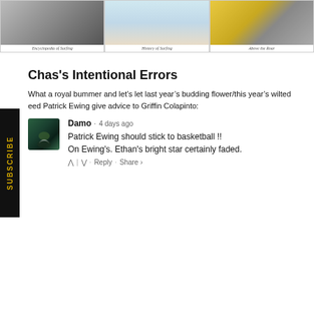[Figure (photo): Three book/website thumbnails: Encyclopedia of Surfing, History of Surfing, Above the Roar]
Chas's Intentional Errors
What a royal bummer and let’s let last year’s budding flower/this year’s wilted eed Patrick Ewing give advice to Griffin Colapinto:
Damo · 4 days ago
Patrick Ewing should stick to basketball !!
On Ewing's. Ethan's bright star certainly faded.
∧ | ∨ · Reply · Share ›